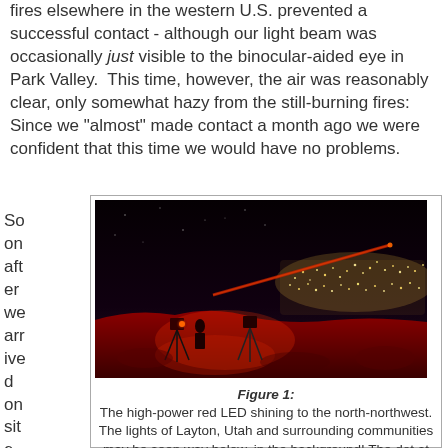fires elsewhere in the western U.S. prevented a successful contact - although our light beam was occasionally just visible to the binocular-aided eye in Park Valley.  This time, however, the air was reasonably clear, only somewhat hazy from the still-burning fires:  Since we "almost" made contact a month ago we were confident that this time we would have no problems.
Soon after we arrived on site Ron sh
[Figure (photo): Nighttime photograph showing a high-power red LED shining to the north-northwest from a mountaintop. Equipment is visible in the foreground illuminated by red light, and the lights of Layton, Utah and surrounding communities are visible in the background below.]
Figure 1: The high-power red LED shining to the north-northwest. The lights of Layton, Utah and surrounding communities may be seen way below, in the background! The dot at the terminus of the red shaft of light is the light from Ron's end of the path. Click on the image for a larger version.